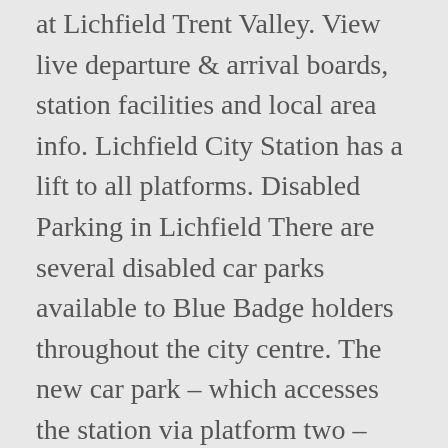at Lichfield Trent Valley. View live departure & arrival boards, station facilities and local area info. Lichfield City Station has a lift to all platforms. Disabled Parking in Lichfield There are several disabled car parks available to Blue Badge holders throughout the city centre. The new car park – which accesses the station via platform two – opened this morning (February 17) and will provide an extra 120 spaces. The new car park at Lichfield Trent Valley. The Bowling Green: car parking–beware - See 624 traveller reviews, 44 candid photos, and great deals for Lichfield, UK, at Tripadvisor. If you have any problems purchasing your season ticket, or any questions, please contact Nicky Haycock on 01543 687550 or call send us an